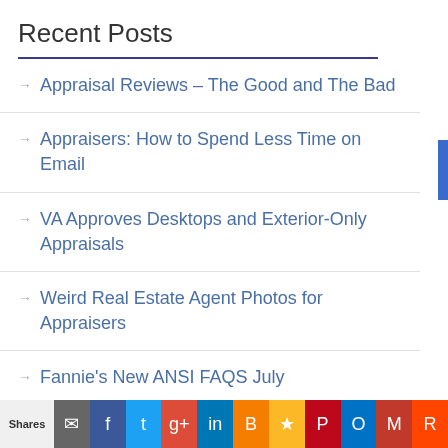Recent Posts
Appraisal Reviews – The Good and The Bad
Appraisers: How to Spend Less Time on Email
VA Approves Desktops and Exterior-Only Appraisals
Weird Real Estate Agent Photos for Appraisers
Fannie's New ANSI FAQS July
Shares | email | Facebook | Twitter | Google+ | LinkedIn | Blogger | Favorites | Pinterest | Outlook | Gmail | Reddit